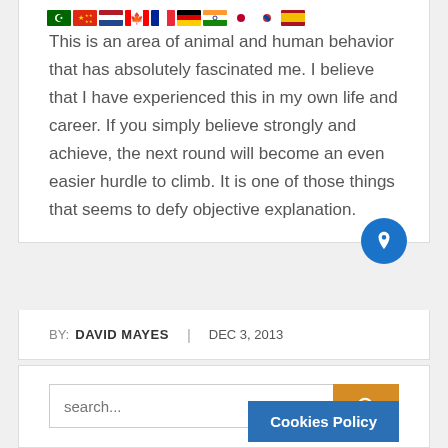[Figure (illustration): Row of country flag emoji icons: Saudi Arabia, China, Netherlands, Canada, France, Germany, India, Japan, South Korea, Spain]
This is an area of animal and human behavior that has absolutely fascinated me. I believe that I have experienced this in my own life and career. If you simply believe strongly and achieve, the next round will become an even easier hurdle to climb. It is one of those things that seems to defy objective explanation.
BY: DAVID MAYES | DEC 3, 2013
[Figure (screenshot): Search bar with placeholder text 'search...' and an orange search button with magnifier icon, plus a blue Cookies Policy banner overlay]